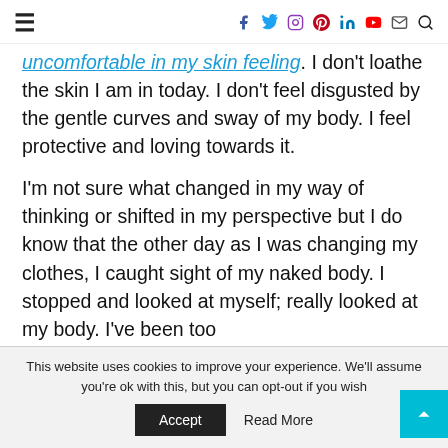≡  [social icons: facebook, twitter, instagram, pinterest, linkedin, youtube, email, search]
uncomfortable in my skin feeling. I don't loathe the skin I am in today. I don't feel disgusted by the gentle curves and sway of my body. I feel protective and loving towards it.
I'm not sure what changed in my way of thinking or shifted in my perspective but I do know that the other day as I was changing my clothes, I caught sight of my naked body. I stopped and looked at myself; really looked at my body. I've been too
This website uses cookies to improve your experience. We'll assume you're ok with this, but you can opt-out if you wish.
Accept   Read More